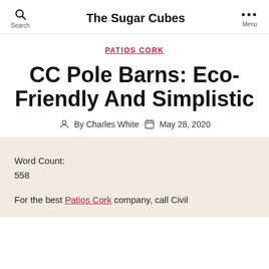Search  The Sugar Cubes  Menu
PATIOS CORK
CC Pole Barns: Eco-Friendly And Simplistic
By Charles White  May 28, 2020
Word Count:
558
For the best Patios Cork company, call Civil